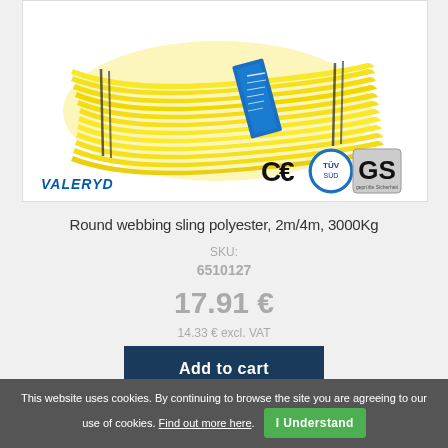[Figure (photo): Yellow round webbing sling polyester with blue label tag, branded VALERYD, with CE, TÜV SÜD, and GS certification logos]
Round webbing sling polyester, 2m/4m, 3000Kg
SKU: 6510127
17.91 €
14.33 € excl. VAT
Add to cart
This website uses cookies. By continuing to browse the site you are agreeing to our use of cookies. Find out more here. I Understand